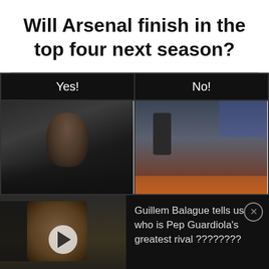Will Arsenal finish in the top four next season?
| Yes! | No! |
| --- | --- |
| [image: man close-up] | [image: man on pitch] |
[Figure (screenshot): Video thumbnail showing a person with a play button overlay]
Guillem Balague tells us who is Pep Guardiola's greatest rival ????????